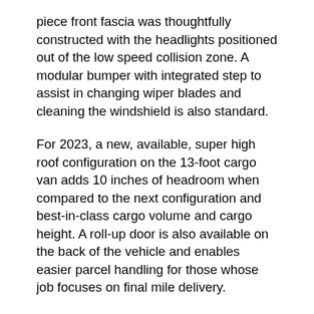piece front fascia was thoughtfully constructed with the headlights positioned out of the low speed collision zone. A modular bumper with integrated step to assist in changing wiper blades and cleaning the windshield is also standard.
For 2023, a new, available, super high roof configuration on the 13-foot cargo van adds 10 inches of headroom when compared to the next configuration and best-in-class cargo volume and cargo height. A roll-up door is also available on the back of the vehicle and enables easier parcel handling for those whose job focuses on final mile delivery.
Other exterior enhancements for 2023 include an optional Black Appearance Package that features a black grille, badges and alloy wheels, providing an understated appearance for commercial customers. A new black machined face or a silver wheel are also available. Additionally, two new exterior colors join the lineup for 2023: Ceramic Gray and Spitfire Orange